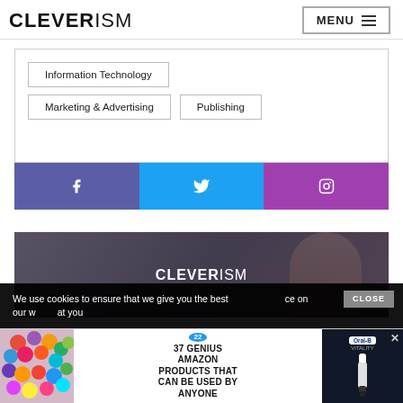CLEVERISM  MENU
Information Technology
Marketing & Advertising
Publishing
[Figure (infographic): Social media buttons: Facebook (purple), Twitter (cyan), Instagram (purple)]
[Figure (photo): CLEVERISM branded image showing a man thinking, dark background overlay]
We use cookies to ensure that we give you the best experience on our website...
[Figure (infographic): Advertisement bar with colorful scrunchies, '37 GENIUS AMAZON PRODUCTS THAT CAN BE USED BY ANYONE' with badge 22, and Oral-B Vitality electric toothbrush ad with close button]